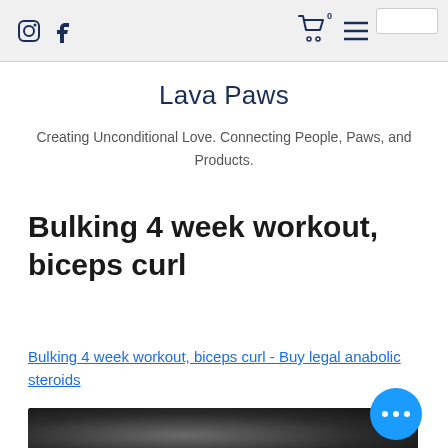Lava Paws — navigation bar with Instagram, Facebook, cart, and menu icons
Lava Paws
Creating Unconditional Love. Connecting People, Paws, and Products.
Bulking 4 week workout, biceps curl
Bulking 4 week workout, biceps curl - Buy legal anabolic steroids
[Figure (photo): Dark blurred photo, likely gym or workout related image]